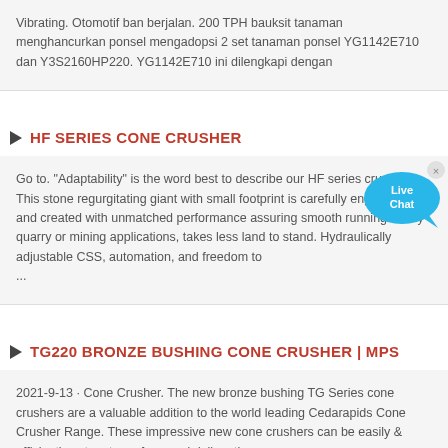Vibrating. Otomotif ban berjalan. 200 TPH bauksit tanaman menghancurkan ponsel mengadopsi 2 set tanaman ponsel YG1142E710 dan Y3S2160HP220. YG1142E710 ini dilengkapi dengan
HF SERIES CONE CRUSHER
Go to. "Adaptability" is the word best to describe our HF series crusher. This stone regurgitating giant with small footprint is carefully engineered and created with unmatched performance assuring smooth running in any quarry or mining applications, takes less land to stand. Hydraulically adjustable CSS, automation, and freedom to ...
TG220 BRONZE BUSHING CONE CRUSHER | MPS
2021-9-13 · Cone Crusher. The new bronze bushing TG Series cone crushers are a valuable addition to the world leading Cedarapids Cone Crusher Range. These impressive new cone crushers can be easily & efficiently set up to perform and deliver the